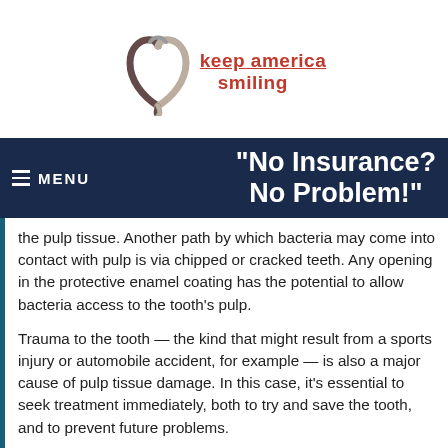[Figure (logo): Keep America Smiling logo with a heart shape made of two intertwined hands above the text 'keep america smiling' in red with underline]
≡ MENU   "No Insurance? No Problem!"
the pulp tissue. Another path by which bacteria may come into contact with pulp is via chipped or cracked teeth. Any opening in the protective enamel coating has the potential to allow bacteria access to the tooth's pulp.
Trauma to the tooth — the kind that might result from a sports injury or automobile accident, for example — is also a major cause of pulp tissue damage. In this case, it's essential to seek treatment immediately, both to try and save the tooth, and to prevent future problems.
In some cases, extensive dental work itself may cause damage to the pulp tissue that will need to be treated